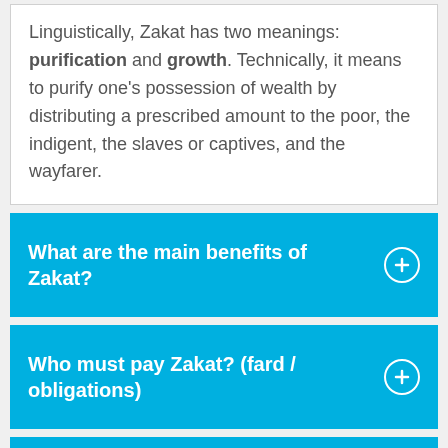Linguistically, Zakat has two meanings: purification and growth. Technically, it means to purify one's possession of wealth by distributing a prescribed amount to the poor, the indigent, the slaves or captives, and the wayfarer.
What are the main benefits of Zakat?
Who must pay Zakat? (fard / obligations)
Virtues of Zakat